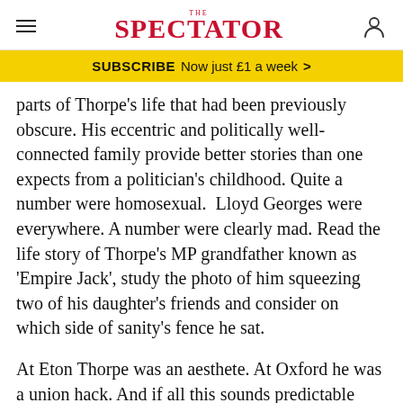THE SPECTATOR
SUBSCRIBE  Now just £1 a week  >
parts of Thorpe's life that had been previously obscure. His eccentric and politically well-connected family provide better stories than one expects from a politician's childhood. Quite a number were homosexual.  Lloyd Georges were everywhere. A number were clearly mad. Read the life story of Thorpe's MP grandfather known as 'Empire Jack', study the photo of him squeezing two of his daughter's friends and consider on which side of sanity's fence he sat.
At Eton Thorpe was an aesthete. At Oxford he was a union hack. And if all this sounds predictable